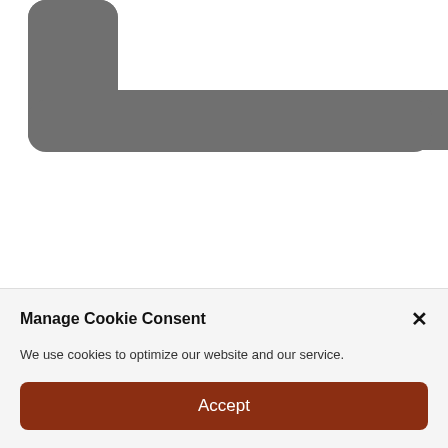[Figure (illustration): Gray rounded L-shaped or bracket graphic at top of page]
•
•
Source
Please follow and like us:
[Figure (screenshot): Social sharing buttons: Follow (green), Share (Facebook blue), Tweet (Twitter light blue), Save (Pinterest red)]
Manage Cookie Consent
We use cookies to optimize our website and our service.
Accept